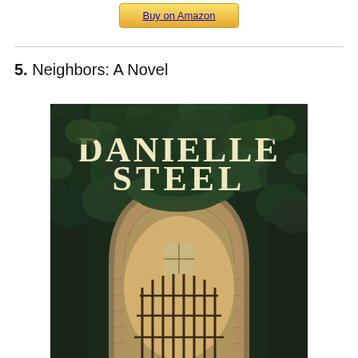[Figure (other): Yellow 'Buy on Amazon' button at top center of page]
5. Neighbors: A Novel
[Figure (photo): Book cover for 'Neighbors: A Novel' by Danielle Steel. Cover shows an ivy-covered arch/gate with the author name DANIELLE STEEL in large cream/gold serif letters against dark green foliage background, with a stone archway and iron gate visible below.]